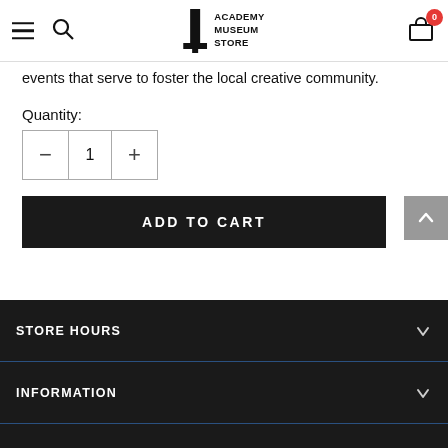Academy Museum Store — navigation header with hamburger menu, search, logo, and cart (0 items)
events that serve to foster the local creative community.
Quantity:
[Figure (other): Quantity selector control with minus button, value of 1, and plus button]
[Figure (other): ADD TO CART button (dark/black background, white uppercase text)]
[Figure (other): Scroll-to-top button (grey square with upward chevron)]
STORE HOURS | INFORMATION — collapsible footer sections on dark background